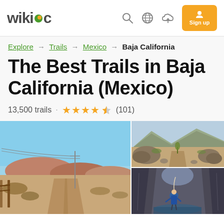wikiloc
Explore → Trails → Mexico → Baja California
The Best Trails in Baja California (Mexico)
13,500 trails · ★★★★½ (101)
[Figure (photo): Three outdoor trail photos from Baja California Mexico: a large left photo showing a desert dirt road with power lines and hills, a top-right photo showing a mountain desert trail with large boulders, and a bottom-right photo showing a person in a rocky crevasse or canyon.]